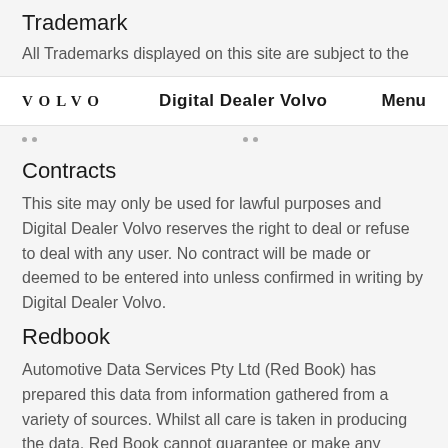Trademark
All Trademarks displayed on this site are subject to the
VOLVO   Digital Dealer Volvo   Menu
Contracts
This site may only be used for lawful purposes and Digital Dealer Volvo reserves the right to deal or refuse to deal with any user. No contract will be made or deemed to be entered into unless confirmed in writing by Digital Dealer Volvo.
Redbook
Automotive Data Services Pty Ltd (Red Book) has prepared this data from information gathered from a variety of sources. Whilst all care is taken in producing the data, Red Book cannot guarantee or make any representations regarding the use of, or reliance, on it. Red Book is not responsible for all the information